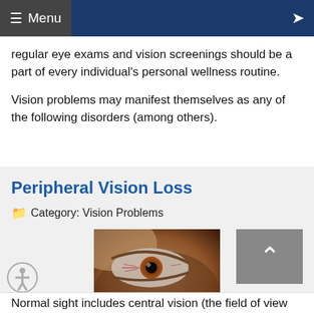Menu
regular eye exams and vision screenings should be a part of every individual's personal wellness routine.
Vision problems may manifest themselves as any of the following disorders (among others).
Peripheral Vision Loss
Category: Vision Problems
[Figure (photo): Close-up photo of a person's eye showing redness and irritation, viewed from a low angle.]
Normal sight includes central vision (the field of view